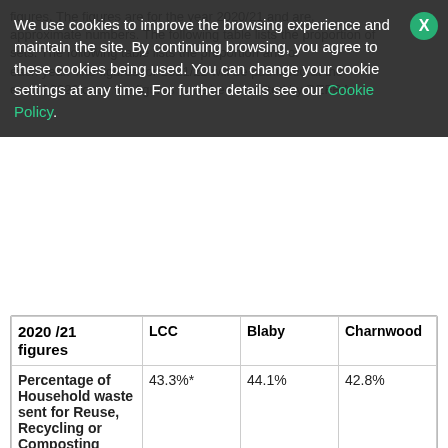figures. The figures are for the year 2020/21 and are. approximate numbers. The following table lists the proportion of sets. The following table lists the proportion and of each year. The figures for 2021/22 will be published at the end of 2022 once the figures have been audited by DEFRA.
We use cookies to improve the browsing experience and maintain the site. By continuing browsing, you agree to these cookies being used. You can change your cookie settings at any time. For further details see our Cookie Policy.
| 2020 /21 figures | LCC | Blaby | Charnwood |
| --- | --- | --- | --- |
| Percentage of Household waste sent for Reuse, Recycling or Composting | 43.3%* | 44.1% | 42.8% |
| Dry recycling rate ** | 23.71% | 24.30% | 25.82% |